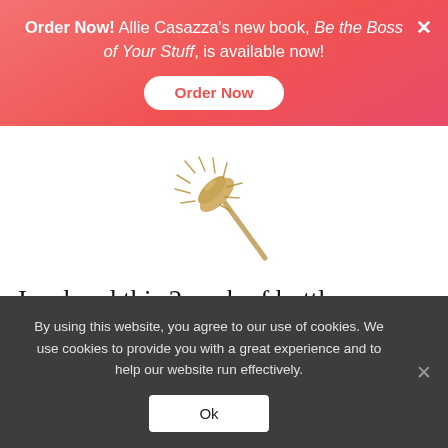Order Now! Allie Casazza's new book, Be the Boss of Your Stuff, is available now! [Order Now button]
[Figure (photo): Partial view of a bottle brush with tan/gold bristles on a white background]
I ordered this 2 pack of bottle brushes. They look cute in my kitchen & it isn't some huge pack of different size brushes that I need to store or hide away.
By using this website, you agree to our use of cookies. We use cookies to provide you with a great experience and to help our website run effectively. [Ok button]